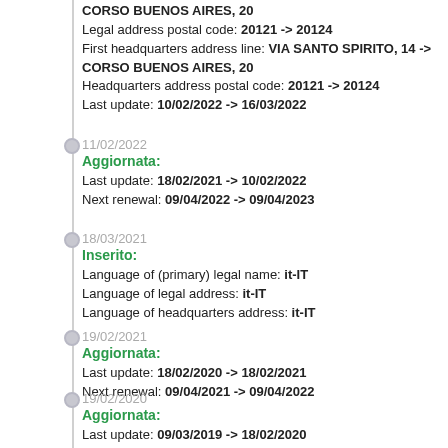CORSO BUENOS AIRES, 20
Legal address postal code: 20121 -> 20124
First headquarters address line: VIA SANTO SPIRITO, 14 -> CORSO BUENOS AIRES, 20
Headquarters address postal code: 20121 -> 20124
Last update: 10/02/2022 -> 16/03/2022
11/02/2022
Aggiornata:
Last update: 18/02/2021 -> 10/02/2022
Next renewal: 09/04/2022 -> 09/04/2023
18/03/2021
Inserito:
Language of (primary) legal name: it-IT
Language of legal address: it-IT
Language of headquarters address: it-IT
19/02/2021
Aggiornata:
Last update: 18/02/2020 -> 18/02/2021
Next renewal: 09/04/2021 -> 09/04/2022
19/02/2020
Aggiornata:
Last update: 09/03/2019 -> 18/02/2020
Next renewal: 09/04/2020 -> 09/04/2021